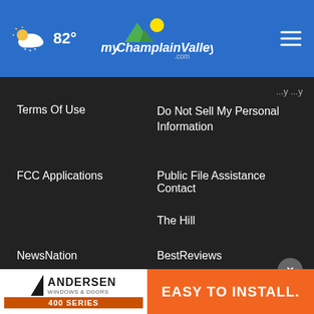82° myChamplainValley.com
Terms Of Use
Do Not Sell My Personal Information
FCC Applications
Public File Assistance Contact
The Hill
NewsNation
BestReviews
Content Licensing
Nexstar Digital
© 1998 - 2022 Nexstar Media Inc. | All Rights Reserved.
[Figure (infographic): Andersen Windows & Doors 400 Series advertisement banner — EASY TO INSTALL.]